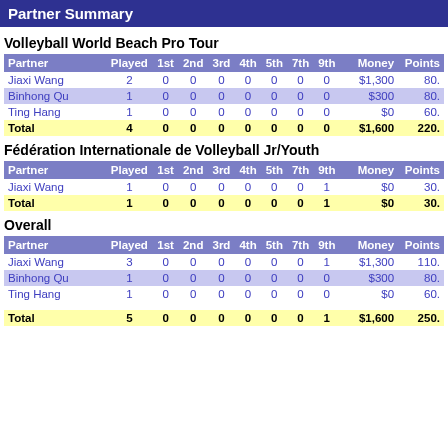Partner Summary
Volleyball World Beach Pro Tour
| Partner | Played | 1st | 2nd | 3rd | 4th | 5th | 7th | 9th | Money | Points |
| --- | --- | --- | --- | --- | --- | --- | --- | --- | --- | --- |
| Jiaxi Wang | 2 | 0 | 0 | 0 | 0 | 0 | 0 | 0 | $1,300 | 80. |
| Binhong Qu | 1 | 0 | 0 | 0 | 0 | 0 | 0 | 0 | $300 | 80. |
| Ting Hang | 1 | 0 | 0 | 0 | 0 | 0 | 0 | 0 | $0 | 60. |
| Total | 4 | 0 | 0 | 0 | 0 | 0 | 0 | 0 | $1,600 | 220. |
Fédération Internationale de Volleyball Jr/Youth
| Partner | Played | 1st | 2nd | 3rd | 4th | 5th | 7th | 9th | Money | Points |
| --- | --- | --- | --- | --- | --- | --- | --- | --- | --- | --- |
| Jiaxi Wang | 1 | 0 | 0 | 0 | 0 | 0 | 0 | 1 | $0 | 30. |
| Total | 1 | 0 | 0 | 0 | 0 | 0 | 0 | 1 | $0 | 30. |
Overall
| Partner | Played | 1st | 2nd | 3rd | 4th | 5th | 7th | 9th | Money | Points |
| --- | --- | --- | --- | --- | --- | --- | --- | --- | --- | --- |
| Jiaxi Wang | 3 | 0 | 0 | 0 | 0 | 0 | 0 | 1 | $1,300 | 110. |
| Binhong Qu | 1 | 0 | 0 | 0 | 0 | 0 | 0 | 0 | $300 | 80. |
| Ting Hang | 1 | 0 | 0 | 0 | 0 | 0 | 0 | 0 | $0 | 60. |
| Total | 5 | 0 | 0 | 0 | 0 | 0 | 0 | 1 | $1,600 | 250. |